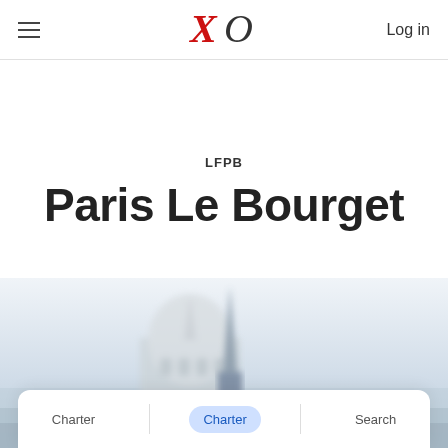XO — Log in
LFPB
Paris Le Bourget
[Figure (photo): Blurred cityscape of Paris showing domed building (Les Invalides) and a spire in the foreground, misty blue-grey sky background]
Charter  Search